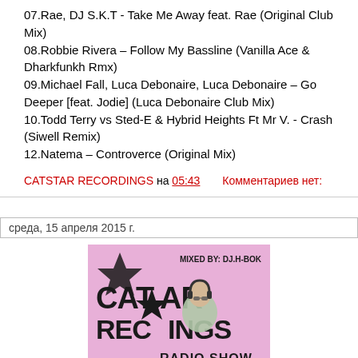07.Rae, DJ S.K.T - Take Me Away feat. Rae (Original Club Mix)
08.Robbie Rivera  – Follow My Bassline (Vanilla Ace & Dharkfunkh Rmx)
09.Michael Fall, Luca Debonaire, Luca Debonaire  – Go Deeper [feat. Jodie] (Luca Debonaire Club Mix)
10.Todd Terry vs Sted-E & Hybrid Heights Ft Mr V. - Crash (Siwell Remix)
12.Natema – Controverce (Original Mix)
CATSTAR RECORDINGS на 05:43    Комментариев нет:
среда, 15 апреля 2015 г.
[Figure (photo): Catstar Recordings Radio Show image with DJ wearing headphones, pink/magenta background with large stylized text logo 'CATSTAR RECORDINGS RADIO SHOW', text overlay 'MIXED BY: DJ.H-BOK']